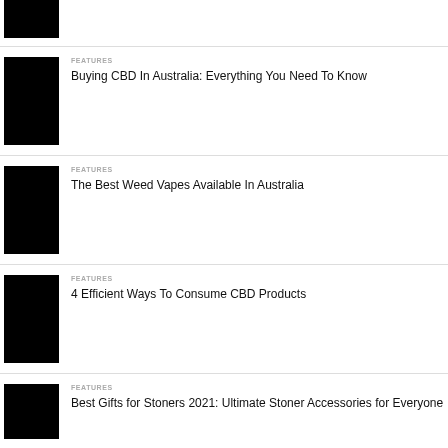[Figure (photo): Black thumbnail image (partially visible at top)]
FEATURES
Buying CBD In Australia: Everything You Need To Know
FEATURES
The Best Weed Vapes Available In Australia
FEATURES
4 Efficient Ways To Consume CBD Products
FEATURES
Best Gifts for Stoners 2021: Ultimate Stoner Accessories for Everyone